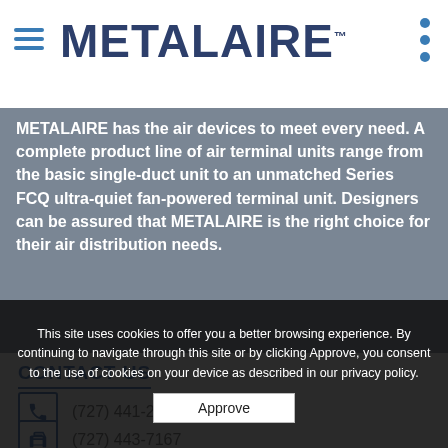METALAIRE™
METALAIRE has the air devices to meet every need. A complete product line of air terminal units range from the basic single-duct unit to an unmatched Series FCQ ultra-quiet fan-powered terminal unit. Designers can be assured that METALAIRE is the right choice for their air distribution needs.
CONTACT US
(727) 441-2651
(727) 443-7167
This site uses cookies to offer you a better browsing experience. By continuing to navigate through this site or by clicking Approve, you consent to the use of cookies on your device as described in our privacy policy.